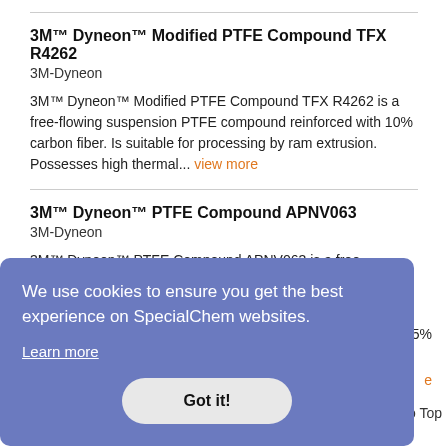3M™ Dyneon™ Modified PTFE Compound TFX R4262
3M-Dyneon
3M™ Dyneon™ Modified PTFE Compound TFX R4262 is a free-flowing suspension PTFE compound reinforced with 10% carbon fiber. Is suitable for processing by ram extrusion. Possesses high thermal... view more
3M™ Dyneon™ PTFE Compound APNV063
3M-Dyneon
3M™ Dyneon™ PTFE Compound APNV063 is a free- [partially obscured] 7.5% [partially obscured] view more
We use cookies to ensure you get the best experience on SpecialChem websites.
Learn more
Got it!
suspension PTFE compound reinforced with 30% bronze